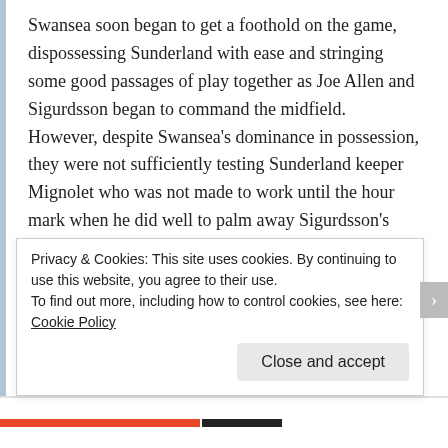Swansea soon began to get a foothold on the game, dispossessing Sunderland with ease and stringing some good passages of play together as Joe Allen and Sigurdsson began to command the midfield. However, despite Swansea's dominance in possession, they were not sufficiently testing Sunderland keeper Mignolet who was not made to work until the hour mark when he did well to palm away Sigurdsson's free kick.
There appeared to be very little penetration pushing forward from the Welsh side as they were lacking a cutting edge in the final third, as they passed the ball around well however were not advancing into the 18 yard box often.
Privacy & Cookies: This site uses cookies. By continuing to use this website, you agree to their use.
To find out more, including how to control cookies, see here: Cookie Policy